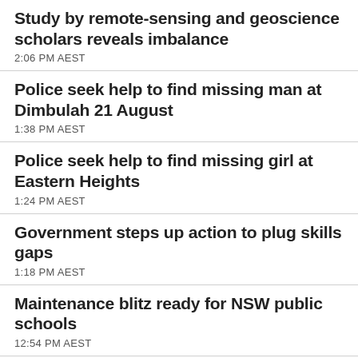Study by remote-sensing and geoscience scholars reveals imbalance
2:06 PM AEST
Police seek help to find missing man at Dimbulah 21 August
1:38 PM AEST
Police seek help to find missing girl at Eastern Heights
1:24 PM AEST
Government steps up action to plug skills gaps
1:18 PM AEST
Maintenance blitz ready for NSW public schools
12:54 PM AEST
Support for storm stricken farmers in Top of South and Far North